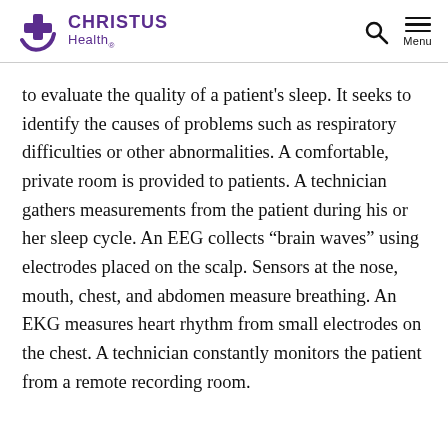CHRISTUS Health
to evaluate the quality of a patient’s sleep. It seeks to identify the causes of problems such as respiratory difficulties or other abnormalities. A comfortable, private room is provided to patients. A technician gathers measurements from the patient during his or her sleep cycle. An EEG collects “brain waves” using electrodes placed on the scalp. Sensors at the nose, mouth, chest, and abdomen measure breathing. An EKG measures heart rhythm from small electrodes on the chest. A technician constantly monitors the patient from a remote recording room.